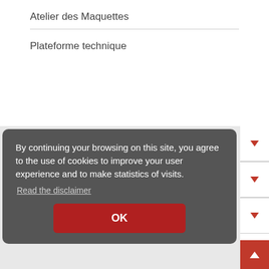Atelier des Maquettes
Plateforme technique
By continuing your browsing on this site, you agree to the use of cookies to improve your user experience and to make statistics of visits. Read the disclaimer
OK
Research